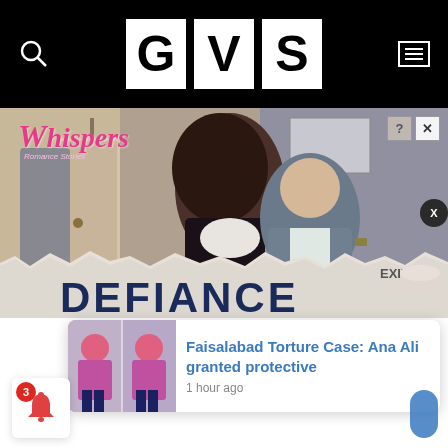GVS
[Figure (photo): Advertisement for 'Whispers' romance stories app featuring a couple embracing, with 'DEFIANCE' text banner at bottom]
Faisalabad Torture Case: Ana Ali granted protective
1 hour ago